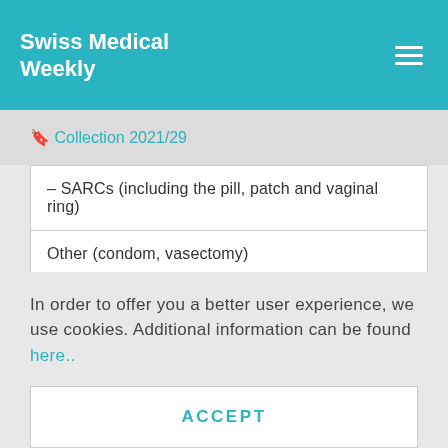Swiss Medical Weekly
🔖 Collection 2021/29
| – SARCs (including the pill, patch and vaginal ring) |
| Other (condom, vasectomy) |
| – Pain score (VAS), median (IQR) |
LARC = long-acting reversible contraception; IQR = interquartile range; IUD = intrauterine device; RPOC
In order to offer you a better user experience, we use cookies. Additional information can be found here..
ACCEPT